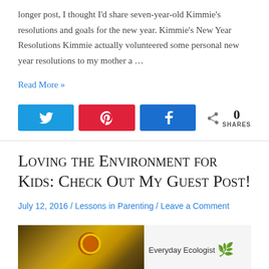longer post, I thought I'd share seven-year-old Kimmie's resolutions and goals for the new year. Kimmie's New Year Resolutions Kimmie actually volunteered some personal new year resolutions to my mother a …
Read More »
[Figure (infographic): Social share buttons: Twitter (blue), Pinterest (red), Facebook (blue), with share count showing 0 SHARES]
Loving the Environment for Kids: Check Out My Guest Post!
July 12, 2016 / Lessons in Parenting / Leave a Comment
[Figure (photo): Photo of sunflowers with an Everyday Ecologist logo/label on the right side]